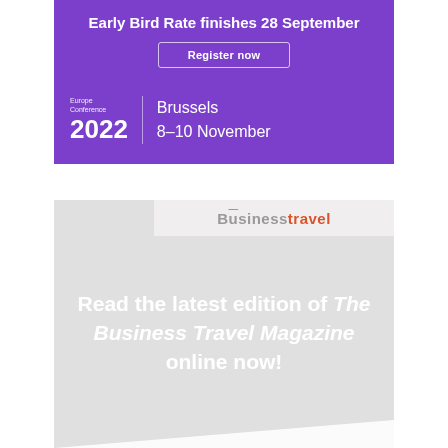Early Bird Rate finishes 28 September
Register now
Europe Conference 2022 | Brussels 8–10 November
[Figure (logo): Business travel logo with 'Business' in grey and 'travel' in orange-red]
Read the latest edition of The Business Travel Magazine online now!